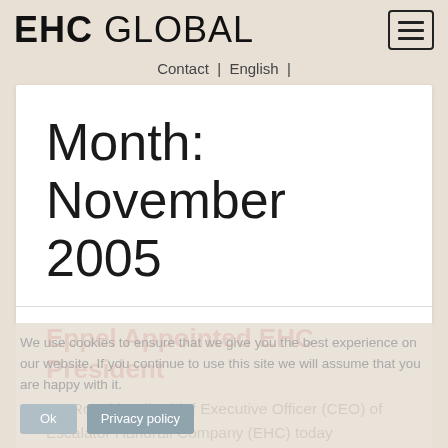EHC GLOBAL
Contact | English |
Month: November 2005
Eppel Appointed EHC President
Mr. Ronald Ball, Chief Executive Officer (CEO) of Escalator Handrail Company (EHC) today announced that Jeno Eppel, currently the Vice President of EHC, has been appointed President of the company. Mr. Ball will